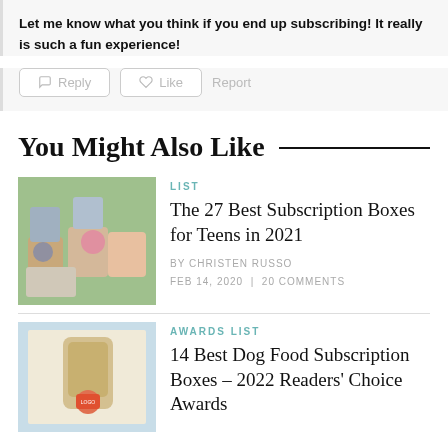Let me know what you think if you end up subscribing! It really is such a fun experience!
[Figure (screenshot): Comment action buttons: Reply (speech bubble icon), Like (heart icon), and a Report text link]
You Might Also Like
[Figure (photo): A collection of Pusheen cat merchandise including plush toys, boxes, and accessories on a green background]
LIST
The 27 Best Subscription Boxes for Teens in 2021
BY CHRISTEN RUSSO
FEB 14, 2020  |  20 COMMENTS
[Figure (photo): Dog food product in a bag with a light blue background, partially cropped]
AWARDS LIST
14 Best Dog Food Subscription Boxes – 2022 Readers' Choice Awards